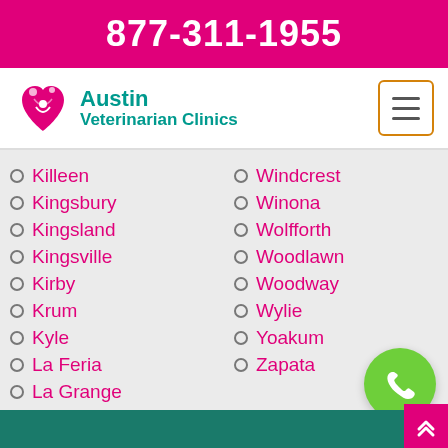877-311-1955
[Figure (logo): Austin Veterinarian Clinics logo with heart and paw icon]
Killeen
Kingsbury
Kingsland
Kingsville
Kirby
Krum
Kyle
La Feria
La Grange
Windcrest
Winona
Wolfforth
Woodlawn
Woodway
Wylie
Yoakum
Zapata